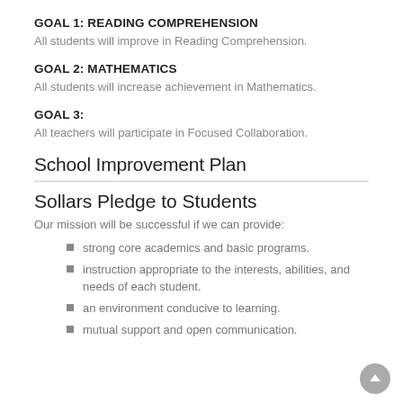GOAL 1: READING COMPREHENSION
All students will improve in Reading Comprehension.
GOAL 2: MATHEMATICS
All students will increase achievement in Mathematics.
GOAL 3:
All teachers will participate in Focused Collaboration.
School Improvement Plan
Sollars Pledge to Students
Our mission will be successful if we can provide:
strong core academics and basic programs.
instruction appropriate to the interests, abilities, and needs of each student.
an environment conducive to learning.
mutual support and open communication.